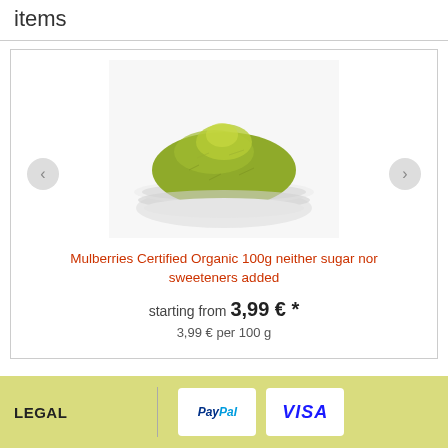items
[Figure (photo): A white bowl filled with green powder (mulberries certified organic powder)]
Mulberries Certified Organic 100g neither sugar nor sweeteners added
starting from 3,99 € *
3,99 € per 100 g
LEGAL
[Figure (logo): PayPal logo]
[Figure (logo): VISA logo]